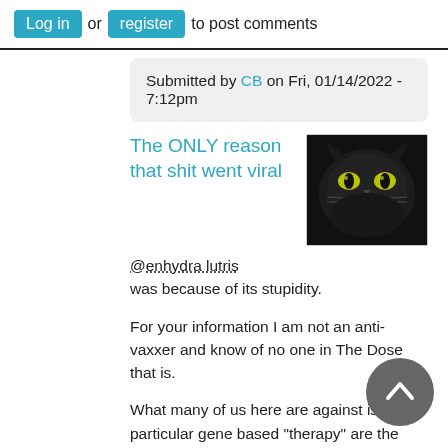Log in or register to post comments
Submitted by CB on Fri, 01/14/2022 - 7:12pm
The ONLY reason that shit went viral
[Figure (photo): Close-up photo of a black cat with glowing yellow-green eyes against a dark background]
@enhydra lutris was because of its stupidity.
For your information I am not an anti-vaxxer and know of no one in The Dose that is.
What many of us here are against is this particular gene based "therapy" are the FACT that it was tested using double blind